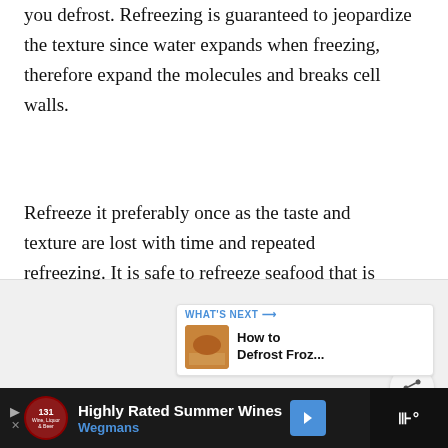you defrost. Refreezing is guaranteed to jeopardize the texture since water expands when freezing, therefore expand the molecules and breaks cell walls.
Refreeze it preferably once as the taste and texture are lost with time and repeated refreezing. It is safe to refreeze seafood that is defrosted in a fridge.
[Figure (other): Heart (like/favorite) button - blue circle with white heart icon]
[Figure (other): Share button - light gray circle with share/network icon]
[Figure (other): What's Next panel showing a thumbnail image and text 'How to Defrost Froz...']
[Figure (other): Advertisement bar at bottom: Highly Rated Summer Wines - Wegmans, with logo and navigation arrow]